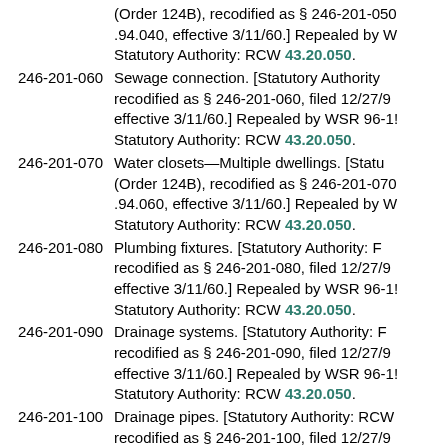(Order 124B), recodified as § 246-201-050 .94.040, effective 3/11/60.] Repealed by W Statutory Authority: RCW 43.20.050.
246-201-060 Sewage connection. [Statutory Authority recodified as § 246-201-060, filed 12/27/9 effective 3/11/60.] Repealed by WSR 96-1! Statutory Authority: RCW 43.20.050.
246-201-070 Water closets—Multiple dwellings. [Statu (Order 124B), recodified as § 246-201-070 .94.060, effective 3/11/60.] Repealed by W Statutory Authority: RCW 43.20.050.
246-201-080 Plumbing fixtures. [Statutory Authority: F recodified as § 246-201-080, filed 12/27/9 effective 3/11/60.] Repealed by WSR 96-1! Statutory Authority: RCW 43.20.050.
246-201-090 Drainage systems. [Statutory Authority: F recodified as § 246-201-090, filed 12/27/9 effective 3/11/60.] Repealed by WSR 96-1! Statutory Authority: RCW 43.20.050.
246-201-100 Drainage pipes. [Statutory Authority: RCW recodified as § 246-201-100, filed 12/27/9